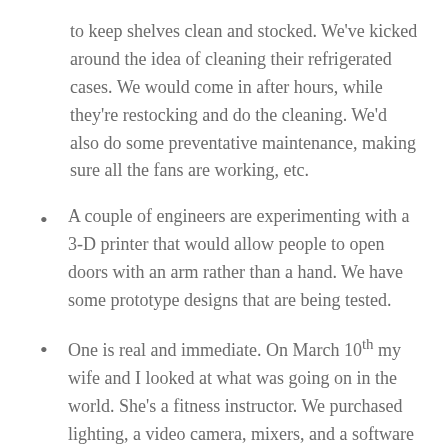to keep shelves clean and stocked.  We've kicked around the idea of cleaning their refrigerated cases.  We would come in after hours, while they're restocking and do the cleaning.  We'd also do some preventative maintenance, making sure all the fans are working, etc.
A couple of engineers are experimenting with a 3-D printer that would allow people to open doors with an arm rather than a hand.  We have some prototype designs that are being tested.
One is real and immediate.  On March 10th my wife and I looked at what was going on in the world.  She's a fitness instructor.  We purchased lighting, a video camera, mixers, and a software platform that she